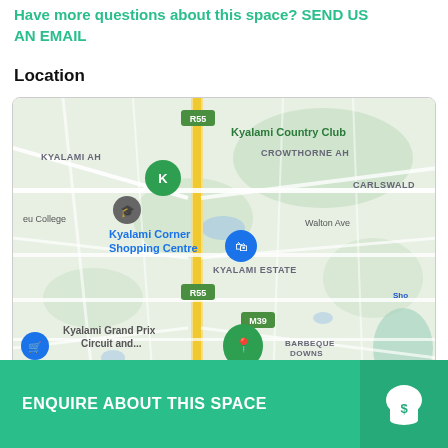Have more questions about this space? SEND US AN EMAIL
Location
[Figure (map): Google Maps view showing Kyalami area with landmarks: Kyalami Country Club, Kyalami Corner Shopping Centre, Kyalami Grand Prix Circuit, Kyalami Estate, Barbeque Downs Business Park, Vorna Valley, R55 and M39 roads, Crowthorne AH, Carlswald areas.]
ENQUIRE ABOUT THIS SPACE